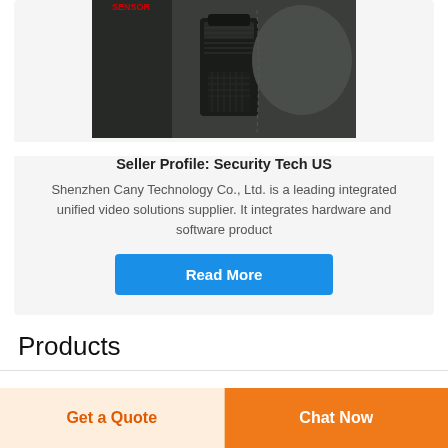[Figure (photo): Close-up photo of a black tactical/security gear item with velcro strap and nylon material]
Seller Profile: Security Tech US
Shenzhen Cany Technology Co., Ltd. is a leading integrated unified video solutions supplier. It integrates hardware and software product
Read More
Products
Get a Quote
Chat Now